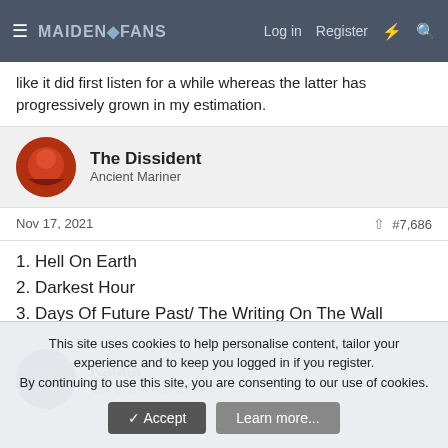MAIDENFANS | Log in | Register
like it did first listen for a while whereas the latter has progressively grown in my estimation.
The Dissident
Ancient Mariner
Nov 17, 2021  #7,686
1. Hell On Earth
2. Darkest Hour
3. Days Of Future Past/ The Writing On The Wall
Kalata
Out of the Silent Planet
This site uses cookies to help personalise content, tailor your experience and to keep you logged in if you register.
By continuing to use this site, you are consenting to our use of cookies.